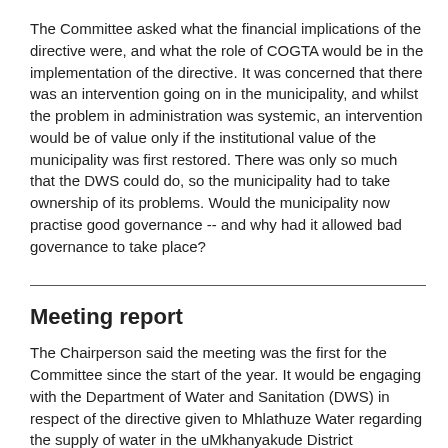The Committee asked what the financial implications of the directive were, and what the role of COGTA would be in the implementation of the directive. It was concerned that there was an intervention going on in the municipality, and whilst the problem in administration was systemic, an intervention would be of value only if the institutional value of the municipality was first restored. There was only so much that the DWS could do, so the municipality had to take ownership of its problems. Would the municipality now practise good governance -- and why had it allowed bad governance to take place?
Meeting report
The Chairperson said the meeting was the first for the Committee since the start of the year. It would be engaging with the Department of Water and Sanitation (DWS) in respect of the directive given to Mhlathuze Water regarding the supply of water in the uMkhanyakude District Municipality, KwaZulu-Natal.